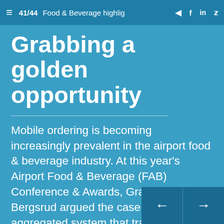41/44  Food & Beverage highlig  f  in  Twitter
Grabbing a golden opportunity
Mobile ordering is becoming increasingly prevalent in the airport food & beverage industry. At this year's Airport Food & Beverage (FAB) Conference & Awards, Grab CEO Mark Bergsrud argued the case for using an aggregated system that travellers would recognise and understand rather than proprietary solutions. The Grab app can of course help achieve that, and is gaining traction in the